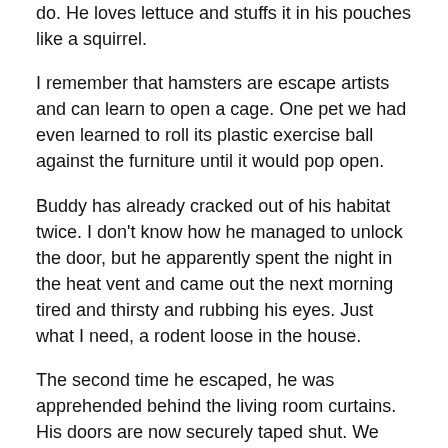do. He loves lettuce and stuffs it in his pouches like a squirrel.
I remember that hamsters are escape artists and can learn to open a cage. One pet we had even learned to roll its plastic exercise ball against the furniture until it would pop open.
Buddy has already cracked out of his habitat twice. I don't know how he managed to unlock the door, but he apparently spent the night in the heat vent and came out the next morning tired and thirsty and rubbing his eyes. Just what I need, a rodent loose in the house.
The second time he escaped, he was apprehended behind the living room curtains. His doors are now securely taped shut. We may have to add a barbed wire fence, alarms and spotlights.